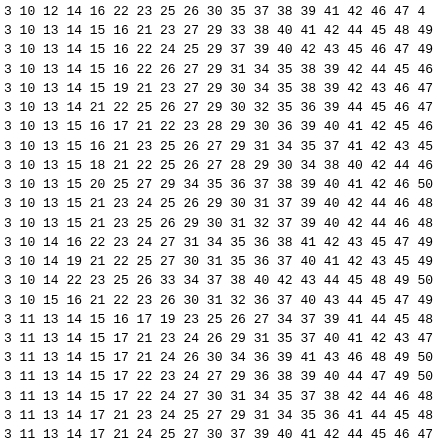3 10 12 14 16 22 23 25 26 30 35 37 38 39 41 42 46 47 4
3 10 13 14 15 16 21 23 27 29 33 38 40 41 42 44 45 48 49
3 10 13 14 15 16 22 24 25 29 37 39 40 42 43 45 46 47 49
3 10 13 14 15 16 22 26 27 29 31 34 35 38 39 42 44 45 46
3 10 13 14 15 19 21 23 27 29 30 34 35 38 39 42 43 46 47
3 10 13 14 21 22 25 26 27 29 30 32 35 36 39 44 45 46 47
3 10 13 15 16 17 21 22 23 28 29 30 36 39 40 41 42 45 46
3 10 13 15 16 21 23 25 26 27 29 31 34 35 37 41 42 43 45
3 10 13 15 18 21 22 25 26 27 28 29 30 34 38 40 42 44 46
3 10 13 15 20 25 27 29 34 35 36 37 38 39 40 41 42 46 50
3 10 13 15 21 23 24 25 26 29 30 31 37 39 40 42 44 46 48
3 10 13 15 21 23 25 26 29 30 31 32 37 39 40 42 44 46 48
3 10 14 16 22 23 24 27 31 34 35 36 38 41 42 43 45 47 49
3 10 14 19 21 22 25 27 30 31 35 36 37 40 41 42 43 45 49
3 10 14 22 23 25 26 33 34 37 38 40 42 43 44 45 48 49 50
3 10 15 16 21 22 23 26 30 31 32 36 37 40 43 44 45 47 49
3 11 13 14 15 16 17 19 23 25 26 27 34 37 39 41 44 45 48
3 11 13 14 15 17 21 23 24 26 29 31 35 37 40 41 42 43 47
3 11 13 14 15 17 21 24 26 30 34 36 39 41 43 46 48 49 50
3 11 13 14 15 17 22 23 24 27 29 36 38 39 40 44 47 49 50
3 11 13 14 15 17 22 24 27 30 31 34 35 37 38 42 44 46 48
3 11 13 14 17 21 23 24 25 27 29 31 34 35 36 41 44 45 48
3 11 13 14 17 21 24 25 27 30 37 39 40 41 42 44 45 46 47
3 11 13 14 17 22 23 24 25 26 29 34 37 38 39 42 43 45 48
3 11 13 14 17 22 24 25 26 30 31 35 36 38 40 43 45 46 47
3 11 13 15 16 17 21 23 24 25 27 30 34 35 38 40 42 43 49
3 11 13 15 16 17 21 24 25 27 29 31 36 37 38 39 43 46 47
3 11 13 15 16 17 22 23 24 25 26 30 31 34 36 37 39 40 41
3 11 13 15 16 17 22 24 25 26 29 35 41 42 44 46 47 48 49
3 11 13 16 17 21 23 24 26 30 35 36 37 38 44 45 47 48 50